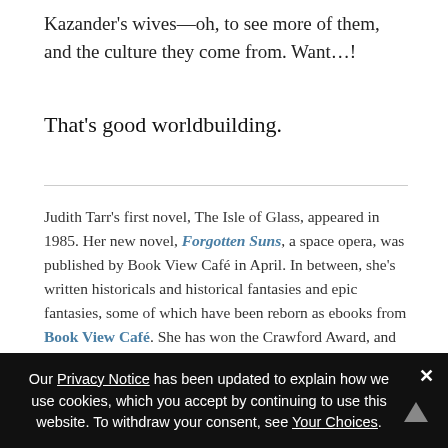Kazander's wives—oh, to see more of them, and the culture they come from. Want…!
That's good worldbuilding.
Judith Tarr's first novel, The Isle of Glass, appeared in 1985. Her new novel, Forgotten Suns, a space opera, was published by Book View Café in April. In between, she's written historicals and historical fantasies and epic fantasies, some of which have been reborn as ebooks from Book View Café. She has won the Crawford Award, and been a finalist for the World Fantasy Award and the Locus Award. She lives in Arizona with an assortment of cats, two dogs, and a herd of Lipizzan horses.
Our Privacy Notice has been updated to explain how we use cookies, which you accept by continuing to use this website. To withdraw your consent, see Your Choices.